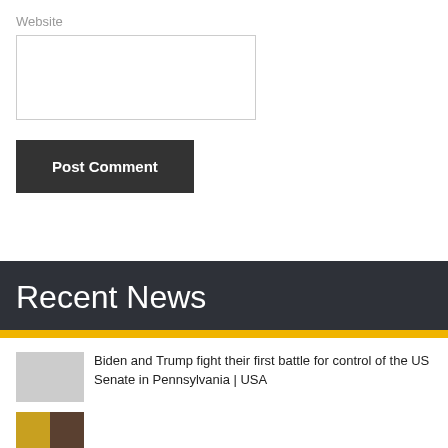Website
Post Comment
Recent News
Biden and Trump fight their first battle for control of the US Senate in Pennsylvania | USA